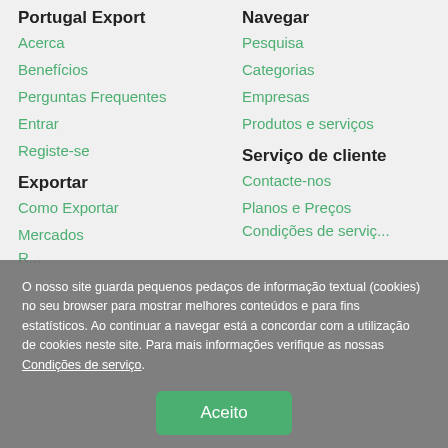Portugal Export
Acerca
Benefícios
Perguntas Frequentes
Entrar
Registe-se
Navegar
Pesquisa
Categorias
Empresas
Produtos e serviços
Exportar
Como Exportar
Mercados
Serviço de cliente
Contacte-nos
Planos e Preços
O nosso site guarda pequenos pedaços de informação textual (cookies) no seu browser para mostrar melhores conteúdos e para fins estatísticos. Ao continuar a navegar está a concordar com a utilização de cookies neste site. Para mais informações verifique as nossas Condições de serviço.
Aceito